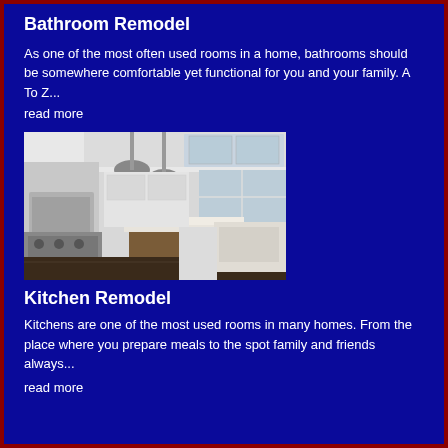Bathroom Remodel
As one of the most often used rooms in a home, bathrooms should be somewhere comfortable yet functional for you and your family. A To Z...
read more
[Figure (photo): Bright white kitchen with large island featuring wooden base, pendant lights, stainless appliances, and tall white cabinets]
Kitchen Remodel
Kitchens are one of the most used rooms in many homes. From the place where you prepare meals to the spot family and friends always...
read more